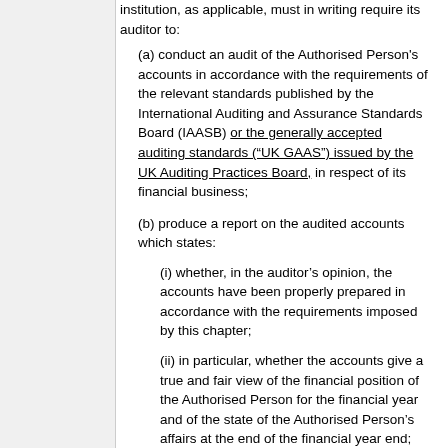institution, as applicable, must in writing require its auditor to:
(a) conduct an audit of the Authorised Person's accounts in accordance with the requirements of the relevant standards published by the International Auditing and Assurance Standards Board (IAASB) or the generally accepted auditing standards (“UK GAAS”) issued by the UK Auditing Practices Board, in respect of its financial business;
(b) produce a report on the audited accounts which states:
(i) whether, in the auditor’s opinion, the accounts have been properly prepared in accordance with the requirements imposed by this chapter;
(ii) in particular, whether the accounts give a true and fair view of the financial position of the Authorised Person for the financial year and of the state of the Authorised Person’s affairs at the end of the financial year end; and
(iii) any other matter or opinion relating to